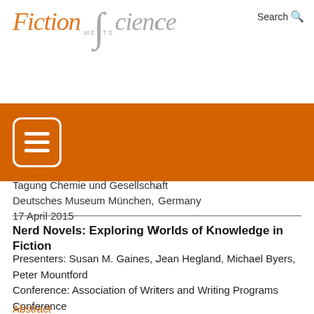[Figure (logo): Fiction Meets Science logo with integral symbol between 'Fiction' in orange italic and 'Science' in grey italic, with 'MEETS' in small caps above the integral]
Search
[Figure (infographic): Orange navigation bar with hamburger menu icon (three white lines inside a white rounded rectangle border)]
Tagung Chemie und Gesellschaft
Deutsches Museum München, Germany
17 April 2015
Nerd Novels: Exploring Worlds of Knowledge in Fiction
Presenters: Susan M. Gaines, Jean Hegland, Michael Byers, Peter Mountford
Conference: Association of Writers and Writing Programs Conference
Minneapolis, MN USA
8 – 11 April 2015
Abstract